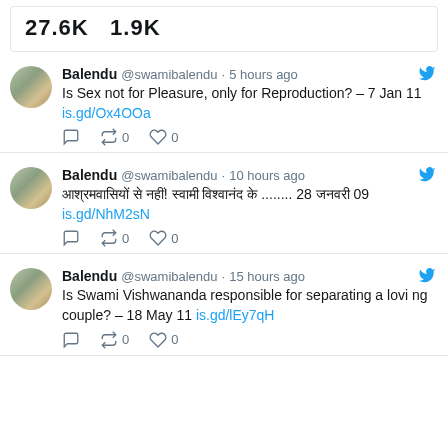27.6K  1.9K
Balendu @swamibalendu · 5 hours ago — Is Sex not for Pleasure, only for Reproduction? – 7 Jan 11 is.gd/Ox4OOa
Balendu @swamibalendu · 10 hours ago — [Hindi text] 28 [Hindi] 09 is.gd/NhM2sN
Balendu @swamibalendu · 15 hours ago — Is Swami Vishwananda responsible for separating a loving couple? – 18 May 11 is.gd/lEy7qH